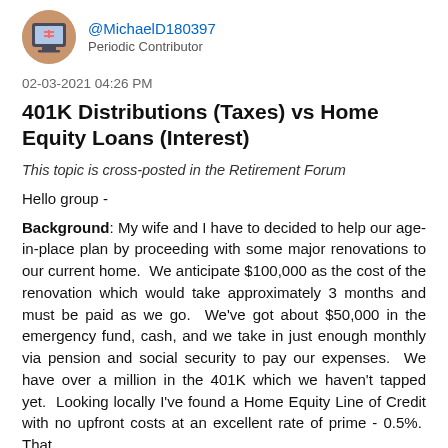[Figure (illustration): User avatar icon showing a computer monitor with a design, circular crop with tan/brown background]
@MichaelD180397
Periodic Contributor
02-03-2021 04:26 PM
401K Distributions (Taxes) vs Home Equity Loans (Interest)
This topic is cross-posted in the Retirement Forum
Hello group -
Background: My wife and I have to decided to help our age-in-place plan by proceeding with some major renovations to our current home.  We anticipate $100,000 as the cost of the renovation which would take approximately 3 months and must be paid as we go.  We've got about $50,000 in the emergency fund, cash, and we take in just enough monthly via pension and social security to pay our expenses.  We have over a million in the 401K which we haven't tapped yet.  Looking locally I've found a Home Equity Line of Credit with no upfront costs at an excellent rate of prime - 0.5%.  That